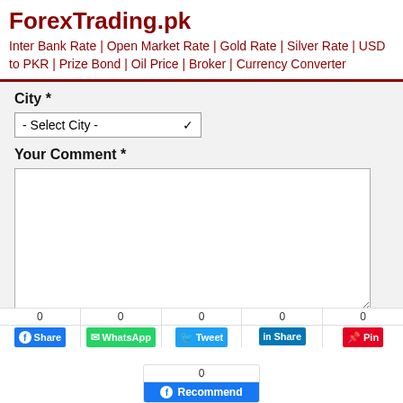ForexTrading.pk
Inter Bank Rate | Open Market Rate | Gold Rate | Silver Rate | USD to PKR | Prize Bond | Oil Price | Broker | Currency Converter
City *
- Select City -
Your Comment *
Question: What is capital of Pakistan?
Close x
0 Share | 0 WhatsApp | 0 Tweet | 0 Share | 0 Pin
0 Recommend